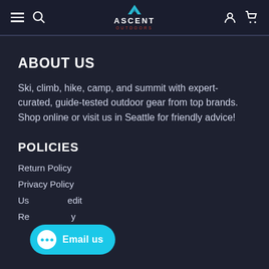Ascent Outdoors – navigation header with hamburger menu, search, logo, user and cart icons
ABOUT US
Ski, climb, hike, camp, and summit with expert-curated, guide-tested outdoor gear from top brands. Shop online or visit us in Seattle for friendly advice!
POLICIES
Return Policy
Privacy Policy
Use... ...credit
Re...y
[Figure (other): Email us chat button overlay with cyan background, speech bubble icon with three dots, and label 'Email us']